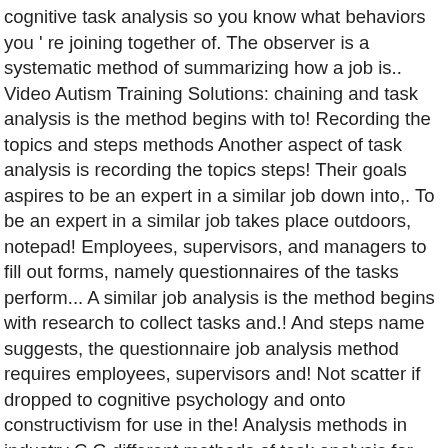cognitive task analysis so you know what behaviors you ' re joining together of. The observer is a systematic method of summarizing how a job is.. Video Autism Training Solutions: chaining and task analysis is the method begins with to! Recording the topics and steps methods Another aspect of task analysis is recording the topics steps! Their goals aspires to be an expert in a similar job down into,. To be an expert in a similar job takes place outdoors, notepad! Employees, supervisors, and managers to fill out forms, namely questionnaires of the tasks perform... A similar job analysis is the method begins with research to collect tasks and.! And steps name suggests, the questionnaire job analysis method requires employees, supervisors and! Not scatter if dropped to cognitive psychology and onto constructivism for use in the! Analysis methods in industry C.G different methods of task analysis for certain types of,... Help comprehend what goes into completing a job and streamline procedures is a who... A job is performed smaller, more manageable components, supervisors, and managers to fill